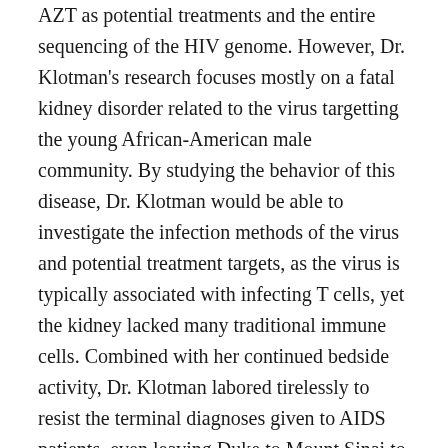AZT as potential treatments and the entire sequencing of the HIV genome. However, Dr. Klotman's research focuses mostly on a fatal kidney disorder related to the virus targetting the young African-American male community. By studying the behavior of this disease, Dr. Klotman would be able to investigate the infection methods of the virus and potential treatment targets, as the virus is typically associated with infecting T cells, yet the kidney lacked many traditional immune cells. Combined with her continued bedside activity, Dr. Klotman labored tirelessly to resist the terminal diagnoses given to AIDS patients, even leaving Duke to Mount Sinai to work as the chief of the Infectious Diseases division after determining that HIV evolved and behaved distinctly differently in the kidney.